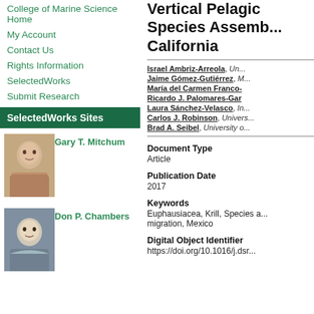College of Marine Science Home
My Account
Contact Us
Rights Information
SelectedWorks
Submit Research
SelectedWorks Sites
Gary T. Mitchum
Don P. Chambers
Vertical Pelagic Species Assemb... California
Israel Ambriz-Arreola, Un...
Jaime Gómez-Gutiérrez, ...
María del Carmen Franco-...
Ricardo J. Palomares-Gar...
Laura Sánchez-Velasco, In...
Carlos J. Robinson, Univers...
Brad A. Seibel, University o...
Document Type
Article
Publication Date
2017
Keywords
Euphausiacea, Krill, Species a... migration, Mexico
Digital Object Identifier
https://doi.org/10.1016/j.dsr...